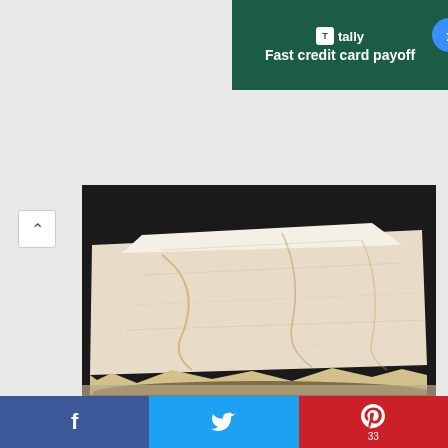[Figure (illustration): Advertisement banner for Tally app: dark green background, Tally logo with white T icon, text 'Fast credit card payoff', blue circular CTA button]
[Figure (photo): Close-up photograph of a raw marble slab coffee table with rough natural edges, placed on a surface, against a dark background]
[Figure (photo): Close-up photograph of white marble wall panels featuring carved reliefs of various objects: figures, animals, books, vases, architectural elements, and classical sculptures arranged in a grid of recessed niches]
[Figure (infographic): Social media sharing bar at the bottom with three buttons: Facebook (blue), Twitter (light blue), and Pinterest (red) with count 33]